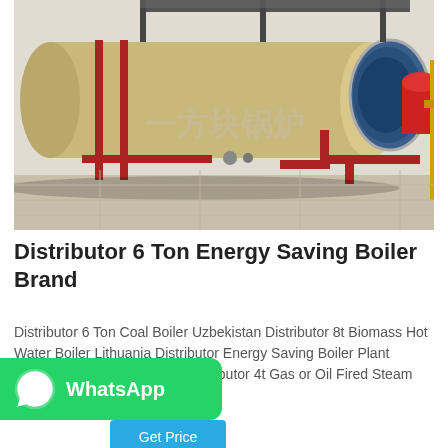[Figure (photo): Industrial boiler room with large horizontal cylindrical boilers (beige/tan colored), red piping, yellow pipes on the right, and metal walkways on top. Chinese watermark text visible in the center of the image.]
Distributor 6 Ton Energy Saving Boiler Brand
Distributor 6 Ton Coal Boiler Uzbekistan Distributor 8t Biomass Hot Water Boiler Lithuania Distributor Energy Saving Boiler Plant Uzbekistan - Boiler Factory Distributor 4t Gas or Oil Fired Steam Boiler...